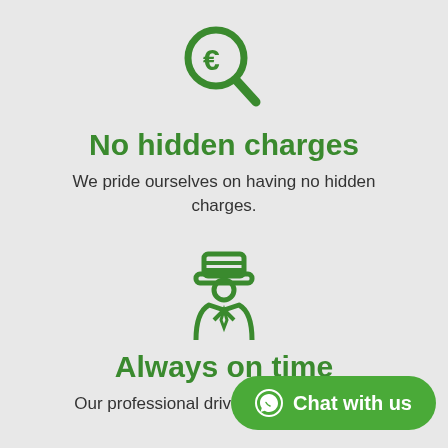[Figure (illustration): Green magnifying glass icon with euro sign inside the lens]
No hidden charges
We pride ourselves on having no hidden charges.
[Figure (illustration): Green chauffeur/driver icon with hat and jacket]
Always on time
Our professional drivers are always on t…
[Figure (illustration): Green WhatsApp-style Chat with us button overlay at bottom right]